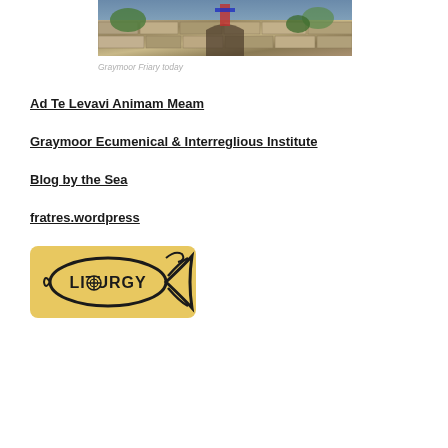[Figure (photo): Photograph of Graymoor Friary stone building exterior with plants and decorative elements]
Graymoor Friary today
Ad Te Levavi Animam Meam
Graymoor Ecumenical & Interreglious Institute
Blog by the Sea
fratres.wordpress
[Figure (logo): Liturgy logo: fish shape with LITURGY text inside on golden/yellow background]